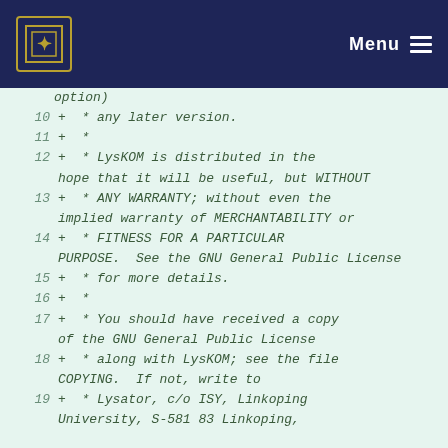Menu
option)
10  +  * any later version.
11  +  *
12  +  * LysKOM is distributed in the hope that it will be useful, but WITHOUT
13  +  * ANY WARRANTY; without even the implied warranty of MERCHANTABILITY or
14  +  * FITNESS FOR A PARTICULAR PURPOSE.  See the GNU General Public License
15  +  * for more details.
16  +  *
17  +  * You should have received a copy of the GNU General Public License
18  +  * along with LysKOM; see the file COPYING.  If not, write to
19  +  * Lysator, c/o ISY, Linkoping University, S-581 83 Linkoping,